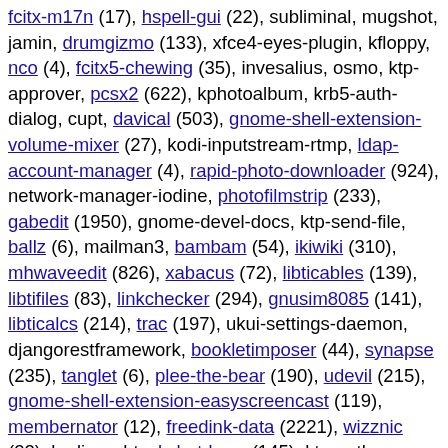fcitx-m17n (17), hspell-gui (22), subliminal, mugshot, jamin, drumgizmo (133), xfce4-eyes-plugin, kfloppy, nco (4), fcitx5-chewing (35), invesalius, osmo, ktp-approver, pcsx2 (622), kphotoalbum, krb5-auth-dialog, cupt, davical (503), gnome-shell-extension-volume-mixer (27), kodi-inputstream-rtmp, ldap-account-manager (4), rapid-photo-downloader (924), network-manager-iodine, photofilmstrip (233), gabedit (1950), gnome-devel-docs, ktp-send-file, ballz (6), mailman3, bambam (54), ikiwiki (310), mhwaveedit (826), xabacus (72), libticables (139), libtifiles (83), linkchecker (294), gnusim8085 (141), libticalcs (214), trac (197), ukui-settings-daemon, djangorestframework, bookletimposer (44), synapse (235), tanglet (6), plee-the-bear (190), udevil (215), gnome-shell-extension-easyscreencast (119), membernator (12), freedink-data (2221), wizznic (22), kodi-pvr-hts, kshutdown (145), ktp-auth-handler, ktp-desktop-applets, slimevolley, birdfont (430), ktp-filetransfer-handler, ktp-kded-integration-module, refcard (188), focuswriter (7), kodi-inputstream-ffmpegdirect, password-gorilla (294)